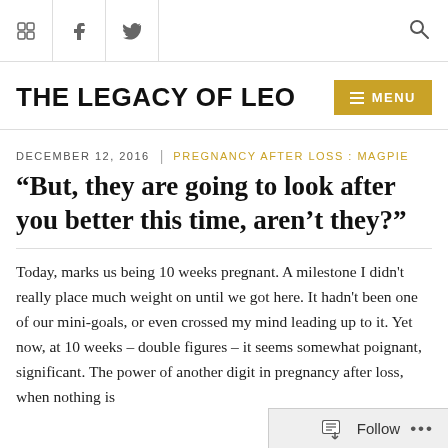THE LEGACY OF LEO — navigation with social icons and menu
THE LEGACY OF LEO
DECEMBER 12, 2016  |  PREGNANCY AFTER LOSS : MAGPIE
“But, they are going to look after you better this time, aren’t they?”
Today, marks us being 10 weeks pregnant. A milestone I didn't really place much weight on until we got here. It hadn't been one of our mini-goals, or even crossed my mind leading up to it. Yet now, at 10 weeks – double figures – it seems somewhat poignant, significant. The power of another digit in pregnancy after loss, when nothing is